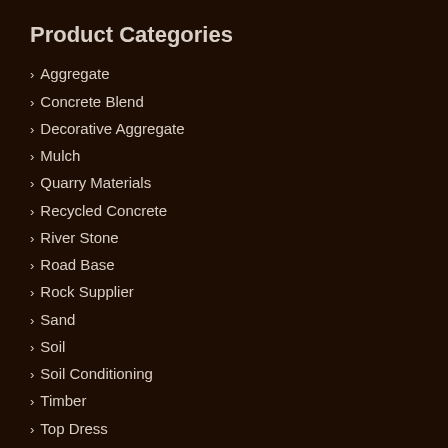Product Categories
Aggregate
Concrete Blend
Decorative Aggregate
Mulch
Quarry Materials
Recycled Concrete
River Stone
Road Base
Rock Supplier
Sand
Soil
Soil Conditioning
Timber
Top Dress